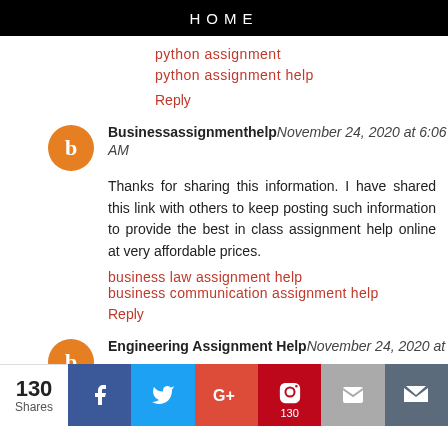HOME
python assignment
python assignment help
Reply
Businessassignmenthelp November 24, 2020 at 6:06 AM
Thanks for sharing this information. I have shared this link with others to keep posting such information to provide the best in class assignment help online at very affordable prices.
business law assignment help
business communication assignment help
Reply
Engineering Assignment Help November 24, 2020 at 7:46 AM
130 Shares